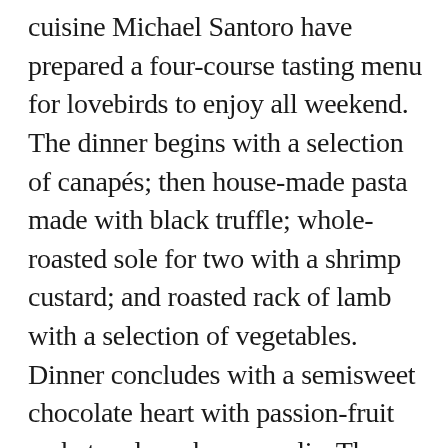cuisine Michael Santoro have prepared a four-course tasting menu for lovebirds to enjoy all weekend. The dinner begins with a selection of canapés; then house-made pasta made with black truffle; whole-roasted sole for two with a shrimp custard; and roasted rack of lamb with a selection of vegetables. Dinner concludes with a semisweet chocolate heart with passion-fruit sorbet and raspberry coulis. The tasting menu, which costs $85 per person, will be available from 5 to 10:30 Friday, February 13, through Sunday, February 15. An à la carte menu will also be available for the weekend.